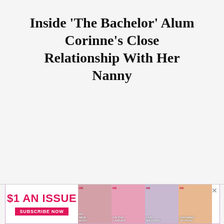Inside 'The Bachelor' Alum Corinne's Close Relationship With Her Nanny
[Figure (other): Advertisement banner for US magazine: '$1 AN ISSUE / SUBSCRIBE NOW' with a row of magazine cover thumbnail images alongside]